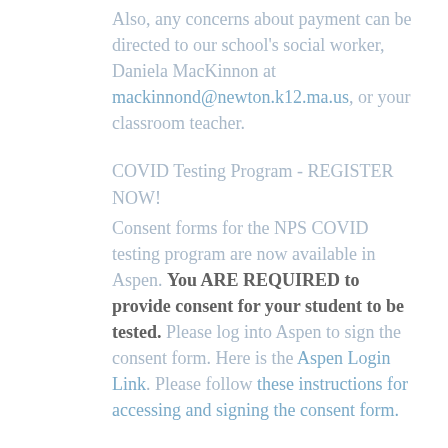Also, any concerns about payment can be directed to our school's social worker, Daniela MacKinnon at mackinnond@newton.k12.ma.us, or your classroom teacher.
COVID Testing Program - REGISTER NOW!
Consent forms for the NPS COVID testing program are now available in Aspen. You ARE REQUIRED to provide consent for your student to be tested. Please log into Aspen to sign the consent form. Here is the Aspen Login Link. Please follow these instructions for accessing and signing the consent form.
While we are still working to finalize